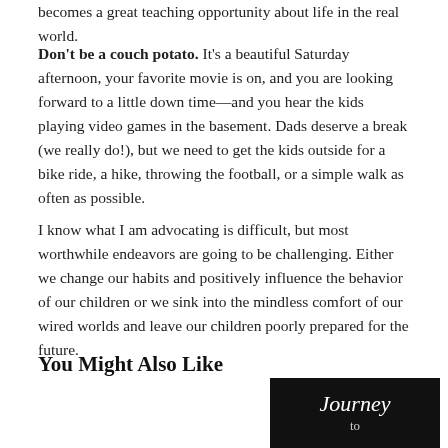becomes a great teaching opportunity about life in the real world.
Don't be a couch potato. It's a beautiful Saturday afternoon, your favorite movie is on, and you are looking forward to a little down time—and you hear the kids playing video games in the basement. Dads deserve a break (we really do!), but we need to get the kids outside for a bike ride, a hike, throwing the football, or a simple walk as often as possible.
I know what I am advocating is difficult, but most worthwhile endeavors are going to be challenging. Either we change our habits and positively influence the behavior of our children or we sink into the mindless comfort of our wired worlds and leave our children poorly prepared for the future.
You Might Also Like
[Figure (photo): Book cover showing 'Journey to H...' in white text on dark background]